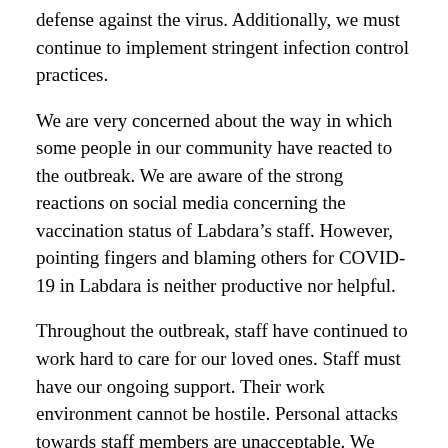defense against the virus. Additionally, we must continue to implement stringent infection control practices.
We are very concerned about the way in which some people in our community have reacted to the outbreak. We are aware of the strong reactions on social media concerning the vaccination status of Labdara’s staff. However, pointing fingers and blaming others for COVID-19 in Labdara is neither productive nor helpful.
Throughout the outbreak, staff have continued to work hard to care for our loved ones. Staff must have our ongoing support. Their work environment cannot be hostile. Personal attacks towards staff members are unacceptable. We must remember that due to the leadership and diligence of staff, not one resident at Labdara tested positive for COVID-19 before July 25, 2021.
Labdara cannot force staff to get vaccinated. We continue to